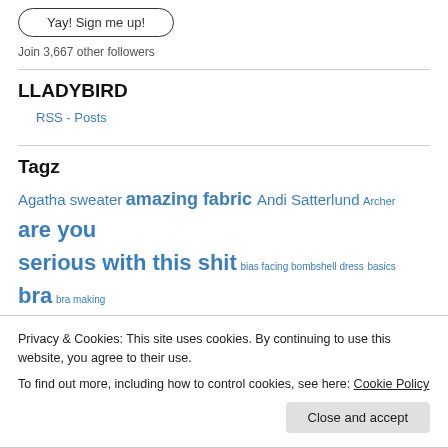[Figure (screenshot): Button labeled 'Yay! Sign me up!' with rounded rectangle border]
Join 3,667 other followers
LLADYBIRD
RSS - Posts
Tagz
Agatha sweater amazing fabric Andi Satterlund Archer are you serious with this shit bias facing bombshell dress basics bra bra making
Privacy & Cookies: This site uses cookies. By continuing to use this website, you agree to their use.
To find out more, including how to control cookies, see here: Cookie Policy
Close and accept
cotton cotton sateen cotton twill Deer & Doe deer and doe delicious cake